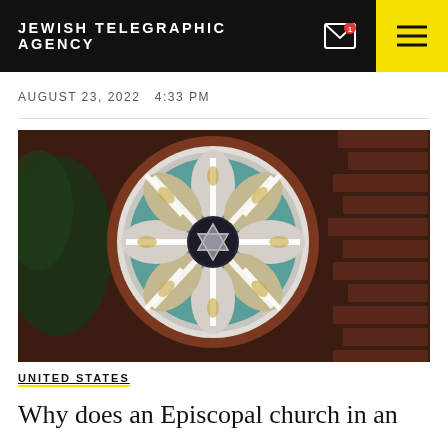JEWISH TELEGRAPHIC AGENCY
AUGUST 23, 2022   4:33 PM
[Figure (photo): A circular stained glass window set in a red brick wall. The window features a rose window design with petal-shaped panels in white, teal, and gold, with a Star of David in the center circle.]
UNITED STATES
Why does an Episcopal church in an